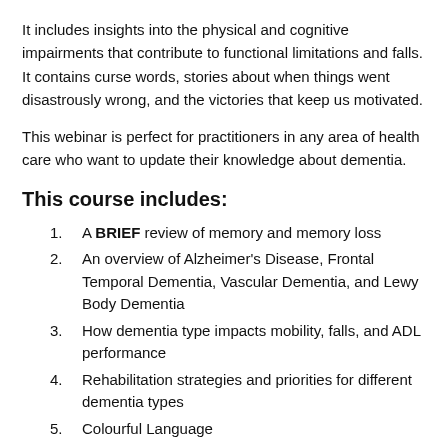It includes insights into the physical and cognitive impairments that contribute to functional limitations and falls. It contains curse words, stories about when things went disastrously wrong, and the victories that keep us motivated.
This webinar is perfect for practitioners in any area of health care who want to update their knowledge about dementia.
This course includes:
A BRIEF review of memory and memory loss
An overview of Alzheimer's Disease, Frontal Temporal Dementia, Vascular Dementia, and Lewy Body Dementia
How dementia type impacts mobility, falls, and ADL performance
Rehabilitation strategies and priorities for different dementia types
Colourful Language